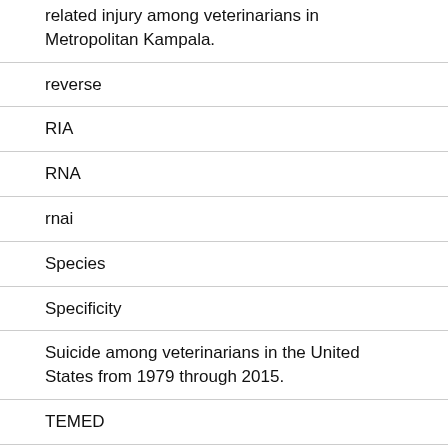related injury among veterinarians in Metropolitan Kampala.
reverse
RIA
RNA
rnai
Species
Specificity
Suicide among veterinarians in the United States from 1979 through 2015.
TEMED